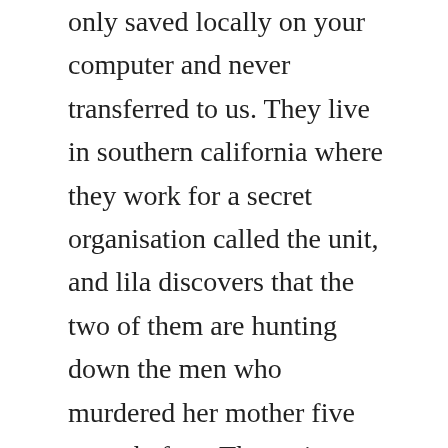only saved locally on your computer and never transferred to us. They live in southern california where they work for a secret organisation called the unit, and lila discovers that the two of them are hunting down the men who murdered her mother five years before. The main characters of this romance, historical romance story are. Hunting unlimited 3 c valusoft by elegance spelinfo. A crush that is without a doubt the most important thing in her life. Losing lila by sarah alderson book read online scribd. Hunting lila free hd streaming adolescence